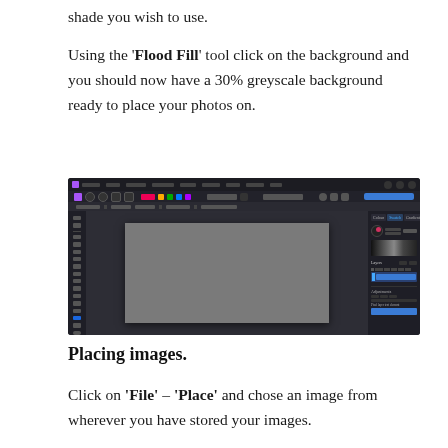shade you wish to use.
Using the 'Flood Fill' tool click on the background and you should now have a 30% greyscale background ready to place your photos on.
[Figure (screenshot): Screenshot of an image editing application (Affinity Photo or similar) showing a dark UI with a grey-filled canvas in the center, toolbars on the left, and panels on the right including layers and color panels.]
Placing images.
Click on 'File' – 'Place' and chose an image from wherever you have stored your images.